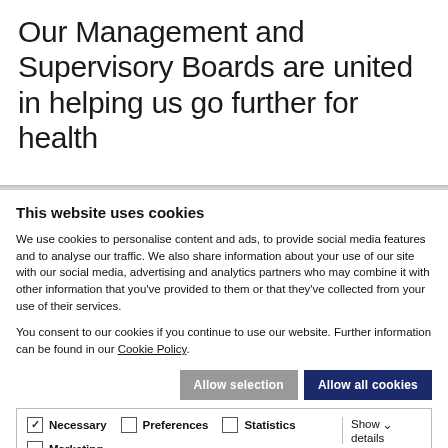Our Management and Supervisory Boards are united in helping us go further for health
This website uses cookies
We use cookies to personalise content and ads, to provide social media features and to analyse our traffic. We also share information about your use of our site with our social media, advertising and analytics partners who may combine it with other information that you've provided to them or that they've collected from your use of their services.
You consent to our cookies if you continue to use our website. Further information can be found in our Cookie Policy.
Allow selection | Allow all cookies
Necessary  Preferences  Statistics  Marketing  Show details